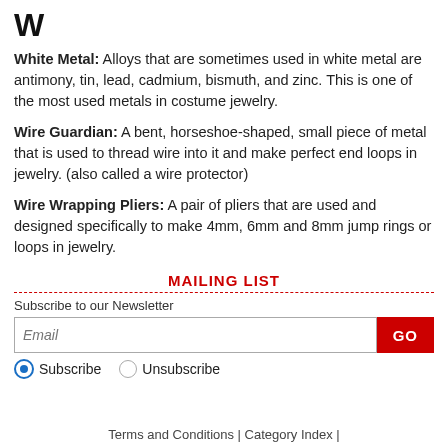W
White Metal: Alloys that are sometimes used in white metal are antimony, tin, lead, cadmium, bismuth, and zinc. This is one of the most used metals in costume jewelry.
Wire Guardian: A bent, horseshoe-shaped, small piece of metal that is used to thread wire into it and make perfect end loops in jewelry. (also called a wire protector)
Wire Wrapping Pliers: A pair of pliers that are used and designed specifically to make 4mm, 6mm and 8mm jump rings or loops in jewelry.
MAILING LIST
Subscribe to our Newsletter
Email
GO
Subscribe
Unsubscribe
Terms and Conditions | Category Index |